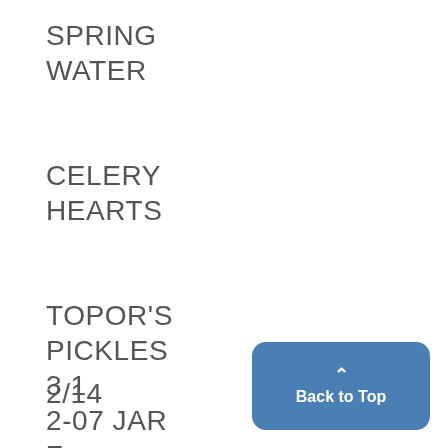SPRING WATER

CELERY HEARTS

TOPOR'S PICKLES
3 1
2-07 JAR
Z
2/14
Back to Top